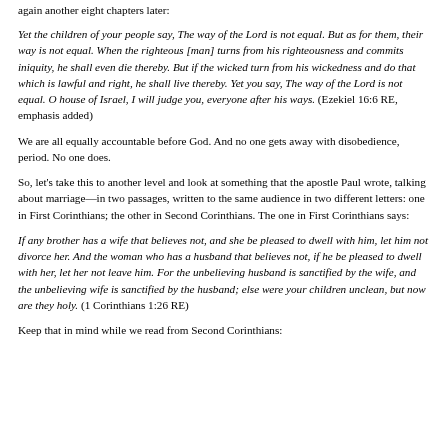again another eight chapters later:
Yet the children of your people say, The way of the Lord is not equal. But as for them, their way is not equal. When the righteous [man] turns from his righteousness and commits iniquity, he shall even die thereby. But if the wicked turn from his wickedness and do that which is lawful and right, he shall live thereby. Yet you say, The way of the Lord is not equal. O house of Israel, I will judge you, everyone after his ways. (Ezekiel 16:6 RE, emphasis added)
We are all equally accountable before God. And no one gets away with disobedience, period. No one does.
So, let's take this to another level and look at something that the apostle Paul wrote, talking about marriage—in two passages, written to the same audience in two different letters: one in First Corinthians; the other in Second Corinthians. The one in First Corinthians says:
If any brother has a wife that believes not, and she be pleased to dwell with him, let him not divorce her. And the woman who has a husband that believes not, if he be pleased to dwell with her, let her not leave him. For the unbelieving husband is sanctified by the wife, and the unbelieving wife is sanctified by the husband; else were your children unclean, but now are they holy. (1 Corinthians 1:26 RE)
Keep that in mind while we read from Second Corinthians: